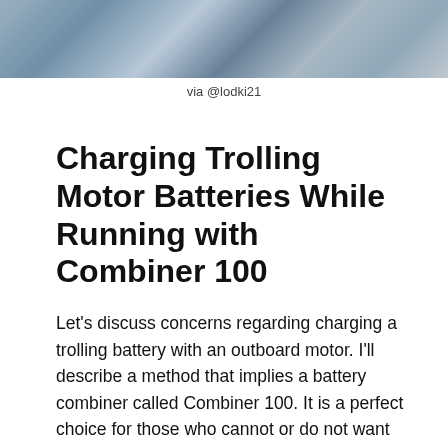[Figure (photo): Photograph of water/sky scene, partially visible at top of page]
via @lodki21
Charging Trolling Motor Batteries While Running with Combiner 100
Let's discuss concerns regarding charging a trolling battery with an outboard motor. I'll describe a method that implies a battery combiner called Combiner 100. It is a perfect choice for those who cannot or do not want to change the cables, dismount, and disassemble the motor. The main advantages of the method are: